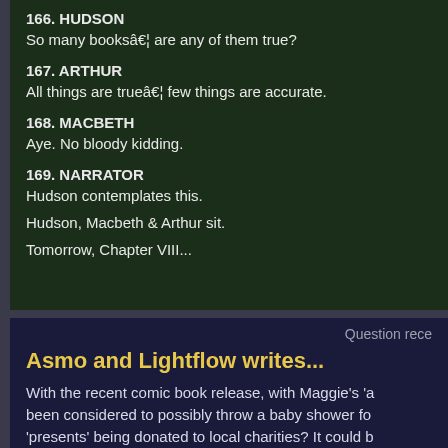166. HUDSON
So many books… are any of them true?
167. ARTHUR
All things are true… few things are accurate.
168. MACBETH
Aye. No bloody kidding.
169. NARRATOR
Hudson contemplates this.

Hudson, Macbeth & Arthur sit.

Tomorrow, Chapter VIII...
Question rece
Asmo and Lightflow writes...
With the recent comic book release, with Maggie's 'a been considered to possibly throw a baby shower for 'presents' being donated to local charities? It could b might be a double baby shower, but at the least it...